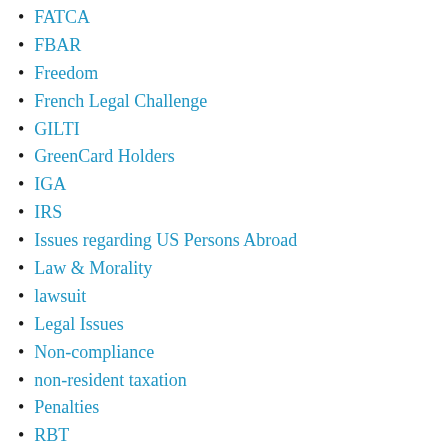FATCA
FBAR
Freedom
French Legal Challenge
GILTI
GreenCard Holders
IGA
IRS
Issues regarding US Persons Abroad
Law & Morality
lawsuit
Legal Issues
Non-compliance
non-resident taxation
Penalties
RBT